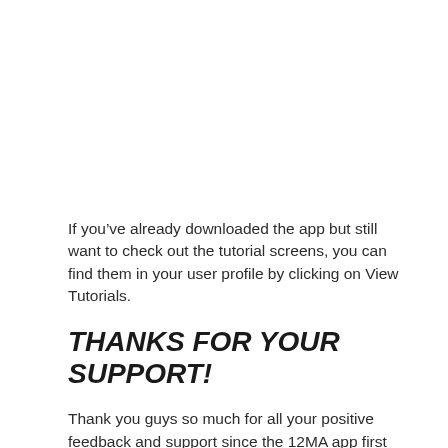If you’ve already downloaded the app but still want to check out the tutorial screens, you can find them in your user profile by clicking on View Tutorials.
THANKS FOR YOUR SUPPORT!
Thank you guys so much for all your positive feedback and support since the 12MA app first came out—we literally couldn’t have done it without you.